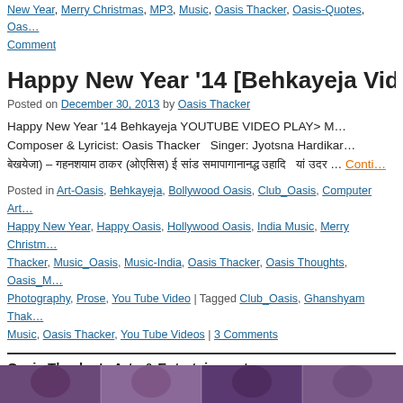New Year, Merry Christmas, MP3, Music, Oasis Thacker, Oasis-Quotes, Oas… Comment
Happy New Year '14 [Behkayeja Video & A…
Posted on December 30, 2013 by Oasis Thacker
Happy New Year '14 Behkayeja YOUTUBE VIDEO PLAY> M… Composer & Lyricist: Oasis Thacker   Singer: Jyotsna Hardikar… [Hindi text] … Conti…
Posted in Art-Oasis, Behkayeja, Bollywood Oasis, Club_Oasis, Computer Art… Happy New Year, Happy Oasis, Hollywood Oasis, India Music, Merry Christm… Thacker, Music_Oasis, Music-India, Oasis Thacker, Oasis Thoughts, Oasis_M… Photography, Prose, You Tube Video | Tagged Club_Oasis, Ghanshyam Thak… Music, Oasis Thacker, You Tube Videos | 3 Comments
Oasis Thacker's Arts & Entertainment
[Figure (photo): Bottom strip showing artistic/decorative images, appears to be faces or artistic portraits in purple/blue tones]